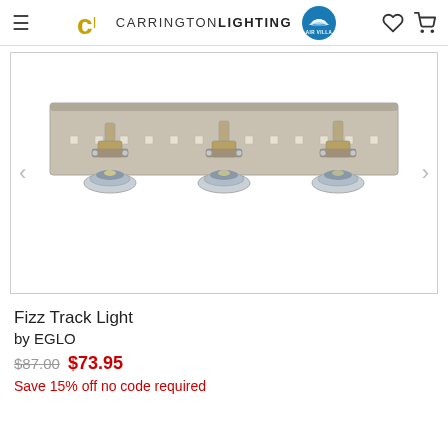Carrington Lighting
[Figure (photo): A three-head track light fixture (Fizz Track Light by EGLO) with chrome lamp heads on a brushed nickel rectangular bar/plate, shown against white background. Navigation arrows on left and right sides of image.]
Fizz Track Light
by EGLO
$87.00 $73.95
Save 15% off no code required